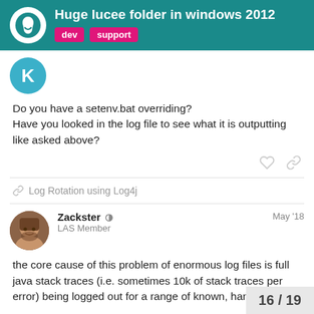Huge lucee folder in windows 2012  dev  support
Do you have a setenv.bat overriding?
Have you looked in the log file to see what it is outputting like asked above?
Log Rotation using Log4j
Zackster  LAS Member  May '18
the core cause of this problem of enormous log files is full java stack traces (i.e. sometimes 10k of stack traces per error) being logged out for a range of known, handled e
here are a couple of examples I have file b
16 / 19